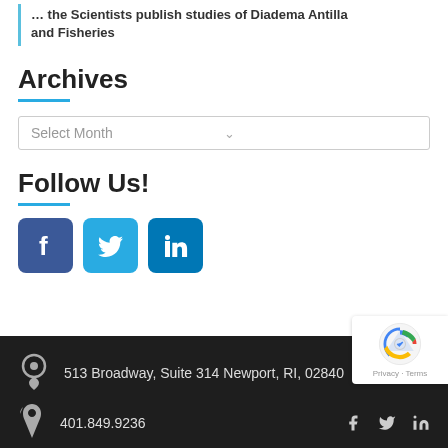… the Scientists publish studies of Diadema Antilla and Fisheries
Archives
Select Month
Follow Us!
[Figure (logo): Facebook, Twitter, and LinkedIn social media icons]
513 Broadway, Suite 314 Newport, RI, 02840
401.849.9236